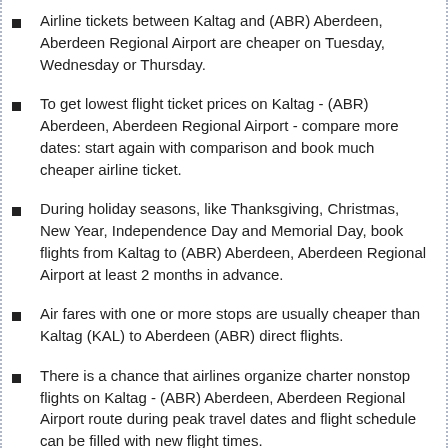Airline tickets between Kaltag and (ABR) Aberdeen, Aberdeen Regional Airport are cheaper on Tuesday, Wednesday or Thursday.
To get lowest flight ticket prices on Kaltag - (ABR) Aberdeen, Aberdeen Regional Airport - compare more dates: start again with comparison and book much cheaper airline ticket.
During holiday seasons, like Thanksgiving, Christmas, New Year, Independence Day and Memorial Day, book flights from Kaltag to (ABR) Aberdeen, Aberdeen Regional Airport at least 2 months in advance.
Air fares with one or more stops are usually cheaper than Kaltag (KAL) to Aberdeen (ABR) direct flights.
There is a chance that airlines organize charter nonstop flights on Kaltag - (ABR) Aberdeen, Aberdeen Regional Airport route during peak travel dates and flight schedule can be filled with new flight times.
There is a chance that on flights from Kaltag - (ABR) Aberdeen, Aberdeen Regional Airport flights special discounts can be provided for students. If available, this will